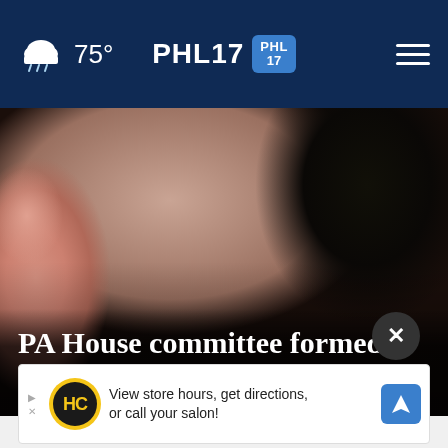PHL17 — 75° weather — navigation menu
[Figure (photo): Close-up photo of a person's face (likely an older man), dimly lit against a dark background, with headline overlay text reading 'PA House committee formed to consider Philly DA's ...']
PA House committee formed to consider Philly DA's ...
[Figure (other): Advertisement banner: 'View store hours, get directions, or call your salon!' with HC logo and navigation arrow icon]